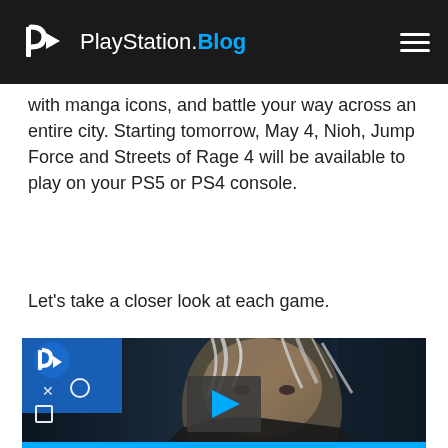PlayStation.Blog
with manga icons, and battle your way across an entire city. Starting tomorrow, May 4, Nioh, Jump Force and Streets of Rage 4 will be available to play on your PS5 or PS4 console.
Let’s take a closer look at each game.
[Figure (screenshot): Video thumbnail showing a close-up of a white-haired male character from a game, with a PlayStation logo and controller button icons in the top-left corner, and a play button overlay in the center with a blue progress bar at the bottom.]